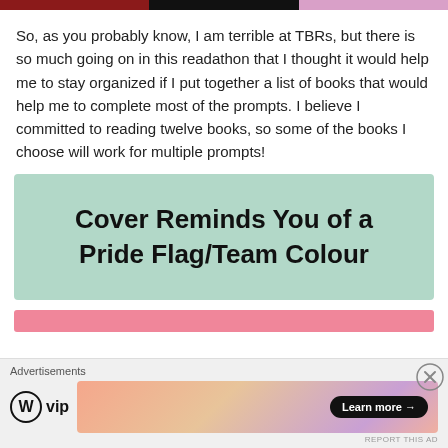[Figure (other): Three colored horizontal bars at the top: dark red, black, and light pink/mauve]
So, as you probably know, I am terrible at TBRs, but there is so much going on in this readathon that I thought it would help me to stay organized if I put together a list of books that would help me to complete most of the prompts. I believe I committed to reading twelve books, so some of the books I choose will work for multiple prompts!
Cover Reminds You of a Pride Flag/Team Colour
[Figure (other): Pink/salmon colored bar below the green section header box]
[Figure (other): Advertisement footer with WordPress VIP logo and a gradient ad image with Learn more button]